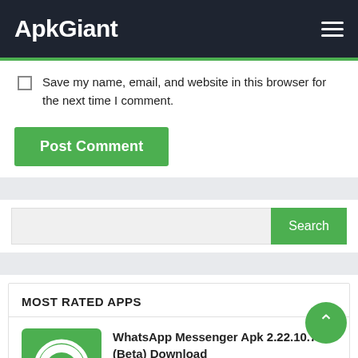ApkGiant
Save my name, email, and website in this browser for the next time I comment.
Post Comment
Search
MOST RATED APPS
WhatsApp Messenger Apk 2.22.10.7 (Beta) Download
WhatsApp LLC
★★★★☆
YouTube Apk 17.03.38 (Root, Non-split) Original